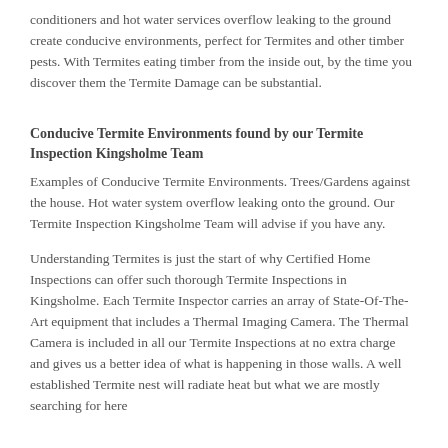conditioners and hot water services overflow leaking to the ground create conducive environments, perfect for Termites and other timber pests. With Termites eating timber from the inside out, by the time you discover them the Termite Damage can be substantial.
Conducive Termite Environments found by our Termite Inspection Kingsholme Team
Examples of Conducive Termite Environments. Trees/Gardens against the house. Hot water system overflow leaking onto the ground. Our Termite Inspection Kingsholme Team will advise if you have any.
Understanding Termites is just the start of why Certified Home Inspections can offer such thorough Termite Inspections in Kingsholme. Each Termite Inspector carries an array of State-Of-The-Art equipment that includes a Thermal Imaging Camera. The Thermal Camera is included in all our Termite Inspections at no extra charge and gives us a better idea of what is happening in those walls. A well established Termite nest will radiate heat but what we are mostly searching for here